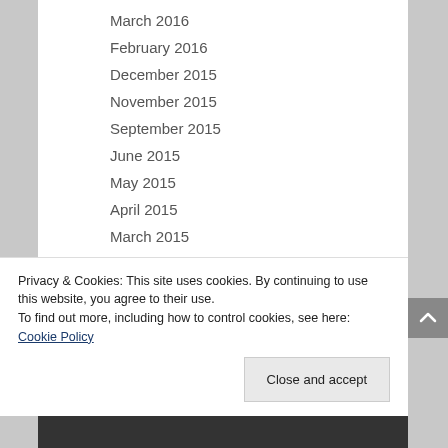March 2016
February 2016
December 2015
November 2015
September 2015
June 2015
May 2015
April 2015
March 2015
January 2015
Privacy & Cookies: This site uses cookies. By continuing to use this website, you agree to their use.
To find out more, including how to control cookies, see here: Cookie Policy
Close and accept